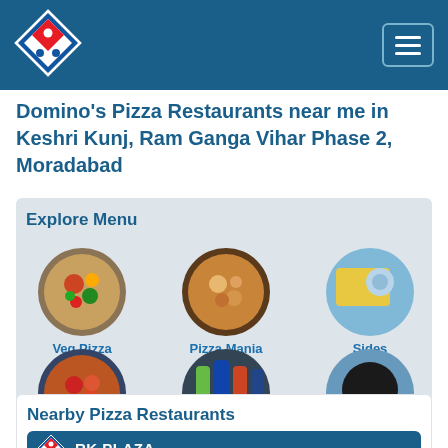[Figure (logo): Domino's Pizza logo - red and blue diamond with white dots]
Domino's Pizza Restaurants near me in Keshri Kunj, Ram Ganga Vihar Phase 2, Moradabad
Explore Menu
[Figure (photo): Circular food menu grid: Veg Pizza, Pizza Mania, Sides (top row); Non-Veg Pizza, Beverages, Desserts (bottom row)]
Nearby Pizza Restaurants
RK PLAZA